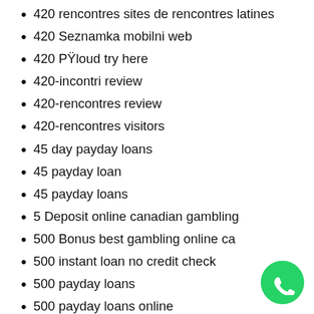420 rencontres sites de rencontres latines
420 Seznamka mobilni web
420 PŸloud try here
420-incontri review
420-rencontres review
420-rencontres visitors
45 day payday loans
45 payday loan
45 payday loans
5 Deposit online canadian gambling
500 Bonus best gambling online ca
500 instant loan no credit check
500 payday loans
500 payday loans online
60 minutes payday loans
600 home loan
600 no credit check loan
[Figure (illustration): WhatsApp contact button (green circle with phone handset icon)]